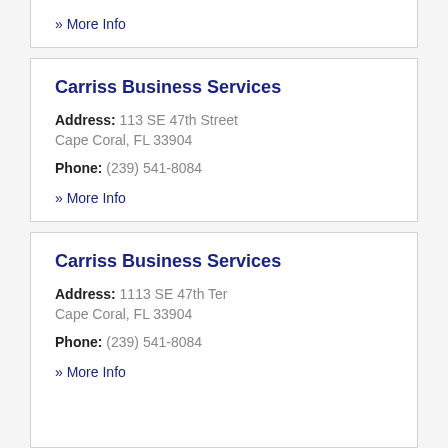» More Info
Carriss Business Services
Address: 113 SE 47th Street Cape Coral, FL 33904
Phone: (239) 541-8084
» More Info
Carriss Business Services
Address: 1113 SE 47th Ter Cape Coral, FL 33904
Phone: (239) 541-8084
» More Info